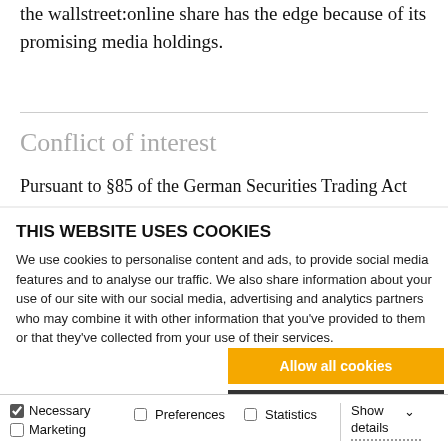the wallstreet:online share has the edge because of its promising media holdings.
Conflict of interest
Pursuant to §85 of the German Securities Trading Act
THIS WEBSITE USES COOKIES
We use cookies to personalise content and ads, to provide social media features and to analyse our traffic. We also share information about your use of our site with our social media, advertising and analytics partners who may combine it with other information that you've provided to them or that they've collected from your use of their services.
Allow all cookies
Allow selection
Use necessary cookies only
Necessary | Marketing | Preferences | Statistics | Show details